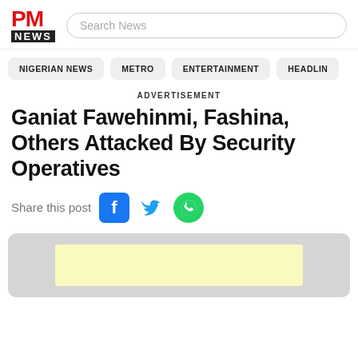[Figure (logo): PM News logo with red PM text and black NEWS banner]
Search News
NIGERIAN NEWS
METRO
ENTERTAINMENT
HEADLIN
ADVERTISEMENT
Ganiat Fawehinmi, Fashina, Others Attacked By Security Operatives
Share this post
[Figure (illustration): Facebook, Twitter, and WhatsApp share buttons]
[Figure (other): Advertisement placeholder block with light yellow inner rectangle]